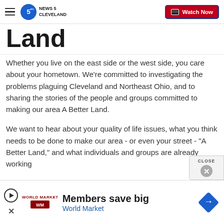NEWS 5 CLEVELAND — Watch Now
Land
Whether you live on the east side or the west side, you care about your hometown. We're committed to investigating the problems plaguing Cleveland and Northeast Ohio, and to sharing the stories of the people and groups committed to making our area A Better Land.
We want to hear about your quality of life issues, what you think needs to be done to make our area - or even your street - "A Better Land," and what individuals and groups are already working
[Figure (other): CLOSE button overlay with X icon]
[Figure (other): Advertisement banner: Members save big — World Market, with play button, World Market logo and navigation sign icon]